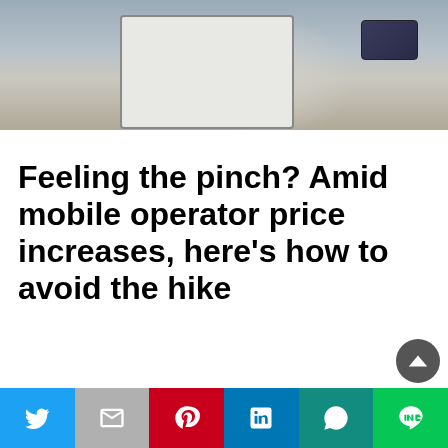[Figure (photo): Person sitting with laptop and holding a credit card]
Feeling the pinch? Amid mobile operator price increases, here’s how to avoid the hike
[Figure (photo): Euro banknotes (10, 20, 50 euro bills) fanned out close-up]
Social sharing bar with Twitter, Gmail, Pinterest, LinkedIn, WhatsApp, LINE buttons